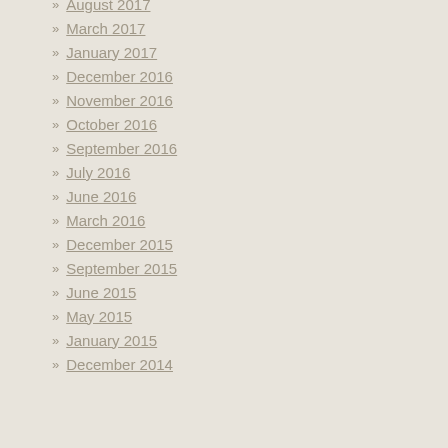August 2017
March 2017
January 2017
December 2016
November 2016
October 2016
September 2016
July 2016
June 2016
March 2016
December 2015
September 2015
June 2015
May 2015
January 2015
December 2014